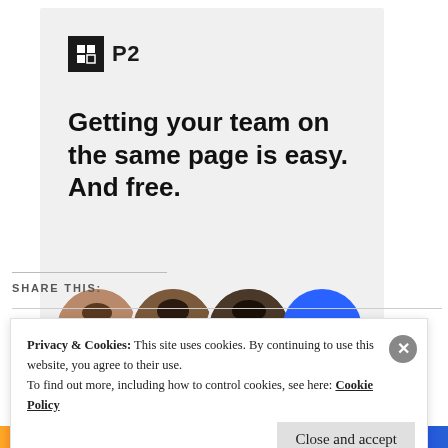[Figure (screenshot): P2 advertisement with logo, headline 'Getting your team on the same page is easy. And free.' and three avatar photos plus a blue plus button]
REPORT THIS AD
SHARE THIS:
Privacy & Cookies: This site uses cookies. By continuing to use this website, you agree to their use.
To find out more, including how to control cookies, see here: Cookie Policy
Close and accept